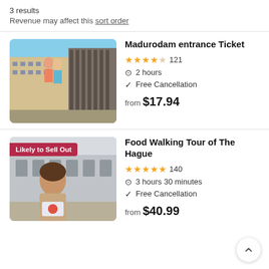3 results
Revenue may affect this sort order
Madurodam entrance Ticket
★★★★☆ 121
⏱ 2 hours
✓ Free Cancellation
from $17.94
Food Walking Tour of The Hague
★★★★★ 140
⏱ 3 hours 30 minutes
✓ Free Cancellation
from $40.99